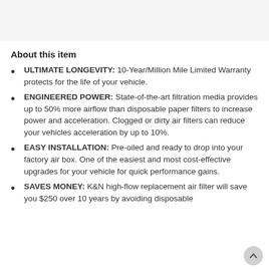[Figure (photo): Product image area at top of page (partially visible, faded background)]
About this item
ULTIMATE LONGEVITY: 10-Year/Million Mile Limited Warranty protects for the life of your vehicle.
ENGINEERED POWER: State-of-the-art filtration media provides up to 50% more airflow than disposable paper filters to increase power and acceleration. Clogged or dirty air filters can reduce your vehicles acceleration by up to 10%.
EASY INSTALLATION: Pre-oiled and ready to drop into your factory air box. One of the easiest and most cost-effective upgrades for your vehicle for quick performance gains.
SAVES MONEY: K&N high-flow replacement air filter will save you $250 over 10 years by avoiding disposable